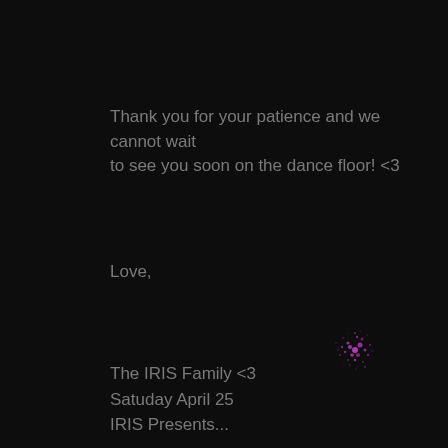Thank you for your patience and we cannot wait to see you soon on the dance floor! <3
Love,
[Figure (photo): A small cluster of glowing purple/magenta light particles or sparks against a dark background, resembling a star cluster or light burst]
The IRIS Family <3
Satuday April 25
IRIS Presents...